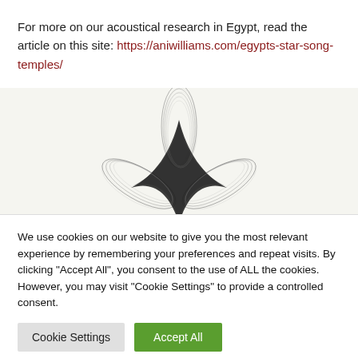For more on our acoustical research in Egypt, read the article on this site: https://aniwilliams.com/egypts-star-song-temples/
[Figure (illustration): A Lissajous or cymatics-style figure: a star-shaped standing wave pattern made of overlapping curved lines, rendered in black and grey on a white/cream background.]
We use cookies on our website to give you the most relevant experience by remembering your preferences and repeat visits. By clicking "Accept All", you consent to the use of ALL the cookies. However, you may visit "Cookie Settings" to provide a controlled consent.